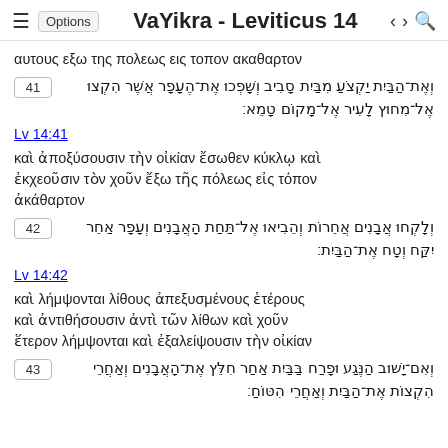VaYikra - Leviticus 14
αυτους εξω της πολεως εις τοπον ακαθαρτον
41 וְאֶת־הַבַּיִת יַקְצֹעַ מִבַּיִת סָבִיב וְשָׁפְכוּ אֶת־הֶעָפָר אֲשֶׁר הִקְצוּ אֶל־מִחוּץ לָעִיר אֶל־מָקוֹם טָמֵא׃
Lv 14:41
καὶ ἀποξύσουσιν τὴν οἰκίαν ἔσωθεν κύκλῳ καὶ ἐκχεοῦσιν τὸν χοῦν ἔξω τῆς πόλεως εἰς τόπον ἀκάθαρτον
42 וְלָקְחוּ אֲבָנִים אֲחֵרוֹת וְהֵבִיאוּ אֶל־תַּחַת הָאֲבָנִים וְעָפָר אַחֵר יִקַּח וְטָח אֶת־הַבַּיִת׃
Lv 14:42
καὶ λήμψονται λίθους ἀπεξυσμένους ἑτέρους καὶ ἀντιθήσουσιν ἀντὶ τῶν λίθων καὶ χοῦν ἕτερον λήμψονται καὶ ἐξαλείψουσιν τὴν οἰκίαν
43 וְאִם־יָשׁוּב הַנֶּגַע וּפָרַח בַּבַּיִת אַחַר חִלֵּץ אֶת־הָאֲבָנִים וְאַחֲרֵי הִקְצוֹת אֶת־הַבַּיִת וְאַחֲרֵי הִטּוֹחַ׃